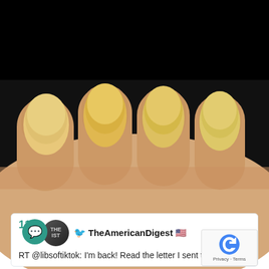[Figure (photo): Close-up photo of a hand showing four fingers with yellowed, discolored fingernails against a dark background]
4 Warning Signs Of Dementia (#2 Is Scary)
🔥 16,377
Sponsored Ad
OUR TWEETS
115  TheAmericanDigest 🇺🇸  13 hour
RT @libsoftiktok: I'm back! Read the letter I sent to